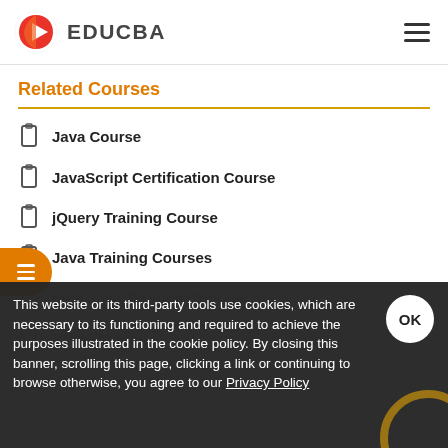EDUCBA
Related Courses
Java Course
JavaScript Certification Course
jQuery Training Course
Java Training Courses
Free Java Training Courses
Java Training
Java Course
This website or its third-party tools use cookies, which are necessary to its functioning and required to achieve the purposes illustrated in the cookie policy. By closing this banner, scrolling this page, clicking a link or continuing to browse otherwise, you agree to our Privacy Policy